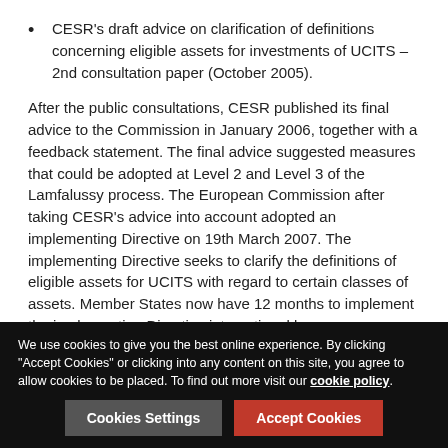CESR's draft advice on clarification of definitions concerning eligible assets for investments of UCITS – 2nd consultation paper (October 2005).
After the public consultations, CESR published its final advice to the Commission in January 2006, together with a feedback statement. The final advice suggested measures that could be adopted at Level 2 and Level 3 of the Lamfalussy process. The European Commission after taking CESR's advice into account adopted an implementing Directive on 19th March 2007. The implementing Directive seeks to clarify the definitions of eligible assets for UCITS with regard to certain classes of assets. Member States now have 12 months to implement the implementing Directive into national law.
To accompany the implementing Directive CESR published on 19 March 2007 its Level 3 guidelines concerning eligible
We use cookies to give you the best online experience. By clicking "Accept Cookies" or clicking into any content on this site, you agree to allow cookies to be placed. To find out more visit our cookie policy.